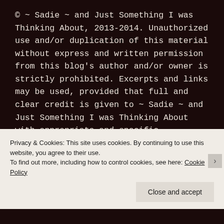© ~ Sadie ~ and Just Something I was Thinking About, 2013-2014. Unauthorized use and/or duplication of this material without express and written permission from this blog's author and/or owner is strictly prohibited. Excerpts and links may be used, provided that full and clear credit is given to ~ Sadie ~ and Just Something I was Thinking About with appropriate and specific
Privacy & Cookies: This site uses cookies. By continuing to use this website, you agree to their use.
To find out more, including how to control cookies, see here: Cookie Policy